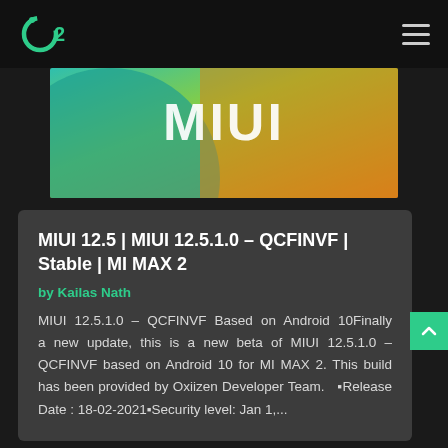Oxiizen (O2) logo and hamburger menu navigation bar
[Figure (illustration): MIUI banner image with teal, yellow-green and orange gradient background and white MIUI text logo]
MIUI 12.5 | MIUI 12.5.1.0 – QCFINVF | Stable | MI MAX 2
by Kailas Nath
MIUI 12.5.1.0 – QCFINVF Based on Android 10Finally a new update, this is a new beta of MIUI 12.5.1.0 – QCFINVF based on Android 10 for MI MAX 2. This build has been provided by Oxiizen Developer Team.  ▪Release Date : 18-02-2021▪Security level: Jan 1,...